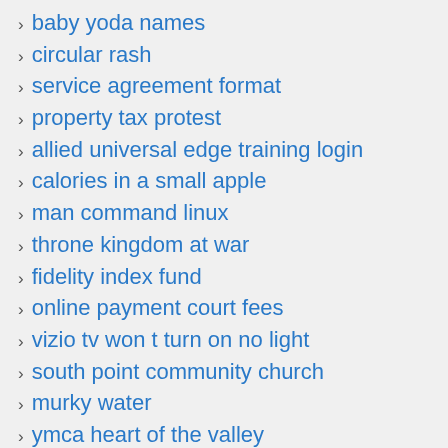baby yoda names
circular rash
service agreement format
property tax protest
allied universal edge training login
calories in a small apple
man command linux
throne kingdom at war
fidelity index fund
online payment court fees
vizio tv won t turn on no light
south point community church
murky water
ymca heart of the valley